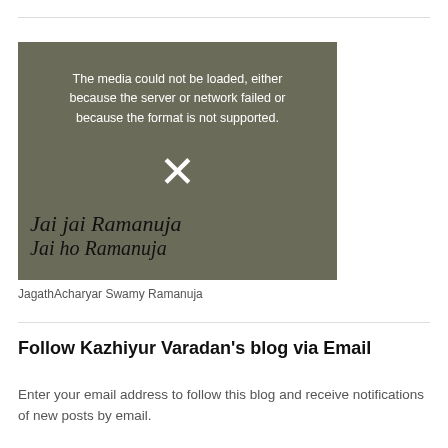[Figure (other): Video player placeholder showing error message 'The media could not be loaded, either because the server or network failed or because the format is not supported.' with an X symbol, overlaid on an illustration background with handwritten text 'Jai jai Ramanuja / Jai ho Ramanuja']
JagathAcharyar Swamy Ramanuja
Follow Kazhiyur Varadan's blog via Email
Enter your email address to follow this blog and receive notifications of new posts by email.